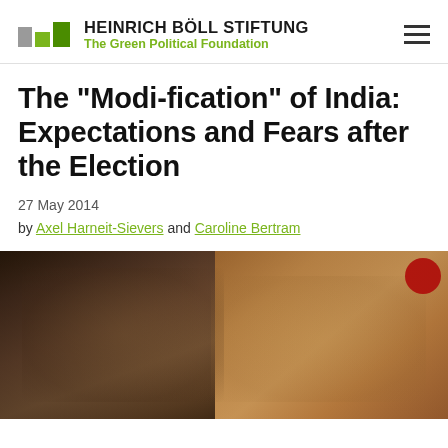HEINRICH BÖLL STIFTUNG — The Green Political Foundation
The "Modi-fication" of India: Expectations and Fears after the Election
27 May 2014
by Axel Harneit-Sievers and Caroline Bertram
[Figure (photo): Photograph showing two men's faces, likely political figures; one older man on the left in dark clothing, one man on the right with grey hair. A partial red circle logo visible top right.]